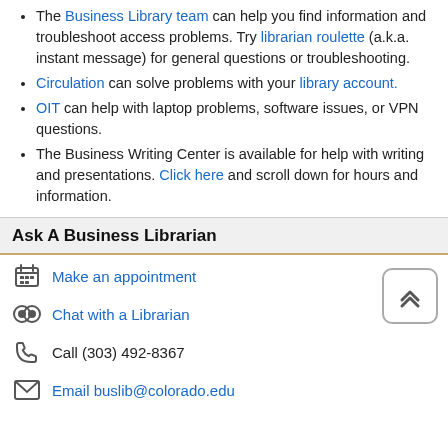The Business Library team can help you find information and troubleshoot access problems. Try librarian roulette (a.k.a. instant message) for general questions or troubleshooting.
Circulation can solve problems with your library account.
OIT can help with laptop problems, software issues, or VPN questions.
The Business Writing Center is available for help with writing and presentations. Click here and scroll down for hours and information.
Ask A Business Librarian
Make an appointment
Chat with a Librarian
Call (303) 492-8367
Email buslib@colorado.edu